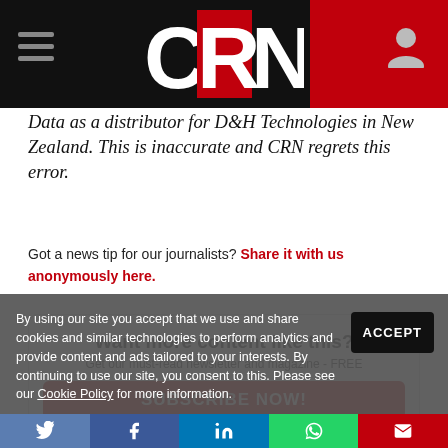CRN
Data as a distributor for D&H Technologies in New Zealand. This is inaccurate and CRN regrets this error.
Got a news tip for our journalists? Share it with us anonymously here.
Want more content like this? Get our must-read newsletter and magazine - FREE
SUBSCRIBE NOW!
By using our site you accept that we use and share cookies and similar technologies to perform analytics and provide content and ads tailored to your interests. By continuing to use our site, you consent to this. Please see our Cookie Policy for more information.
ACCEPT